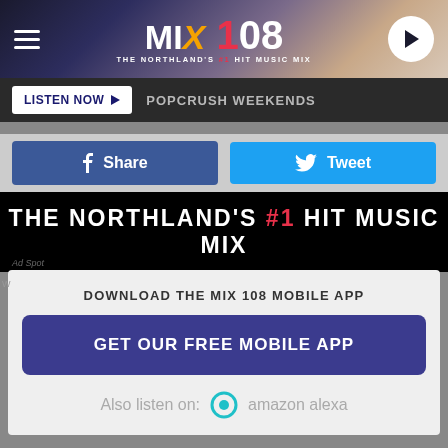[Figure (screenshot): MIX 108 radio station website screenshot showing header with logo, listen now bar, social share buttons, banner image, and mobile app download modal with Amazon Alexa listen option]
MIX 108 – THE NORTHLAND'S #1 HIT MUSIC MIX
LISTEN NOW ▶  POPCRUSH WEEKENDS
Share   Tweet
THE NORTHLAND'S #1 HIT MUSIC MIX
DOWNLOAD THE MIX 108 MOBILE APP
GET OUR FREE MOBILE APP
Also listen on:   amazon alexa